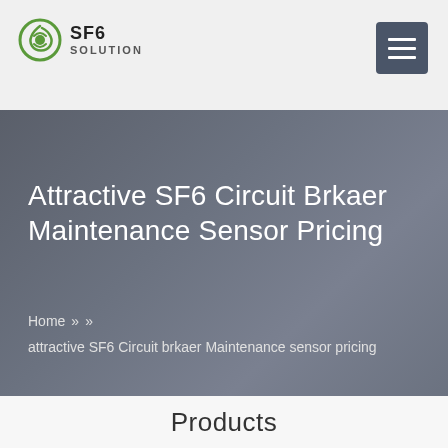SF6 SOLUTION
Attractive SF6 Circuit Brkaer Maintenance Sensor Pricing
Home » » attractive SF6 Circuit brkaer Maintenance sensor pricing
Products